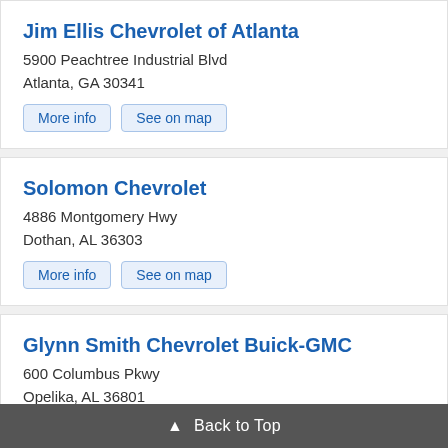Jim Ellis Chevrolet of Atlanta
5900 Peachtree Industrial Blvd
Atlanta, GA 30341
More info
See on map
Solomon Chevrolet
4886 Montgomery Hwy
Dothan, AL 36303
More info
See on map
Glynn Smith Chevrolet Buick-GMC
600 Columbus Pkwy
Opelika, AL 36801
More info
See on map
Rick Hendrick Chevrolet of Buford
4490 S Lee St
Buford, GA 30518
▲ Back to Top